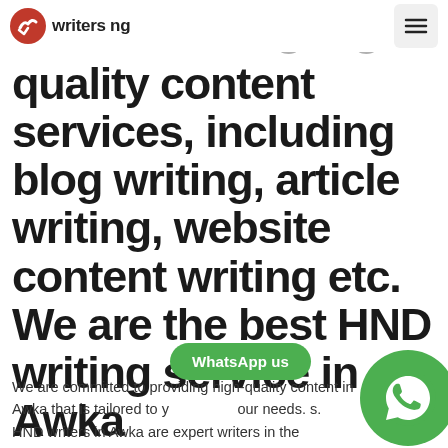writers ng
Awka offering high quality content services, including blog writing, article writing, website content writing etc. We are the best HND writing service in Awka
We are committed to providing high-quality content in Awka that is tailored to your needs. Our HND writers in Awka are expert writers in their respective fields and have years of industry